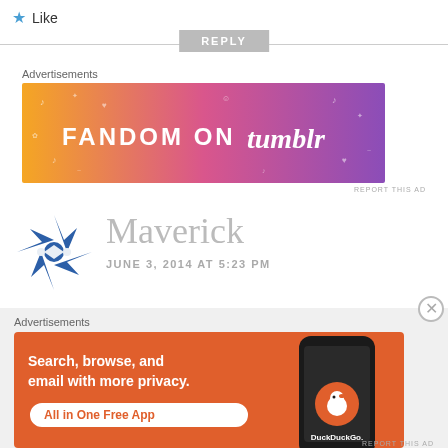★ Like
REPLY
Advertisements
[Figure (illustration): Fandom on Tumblr advertisement banner with colorful orange-to-purple gradient background and doodle decorations]
REPORT THIS AD
[Figure (logo): Blue ninja/shuriken star logo for user Maverick]
Maverick
JUNE 3, 2014 AT 5:23 PM
Advertisements
[Figure (illustration): DuckDuckGo advertisement: Search, browse, and email with more privacy. All in One Free App. Orange background with phone mockup showing DuckDuckGo logo.]
REPORT THIS AD